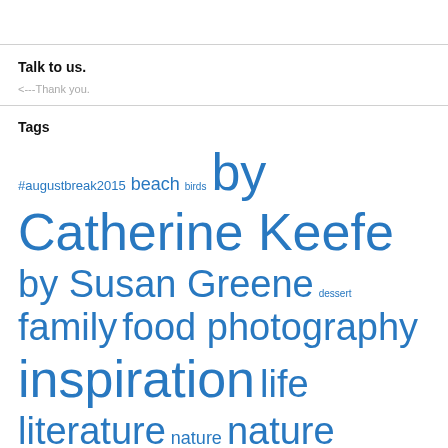Talk to us.
<---Thank you.
Tags
#augustbreak2015 beach birds by Catherine Keefe by Susan Greene dessert family food photography inspiration life literature nature nature photography night photography photography photography tips poetry